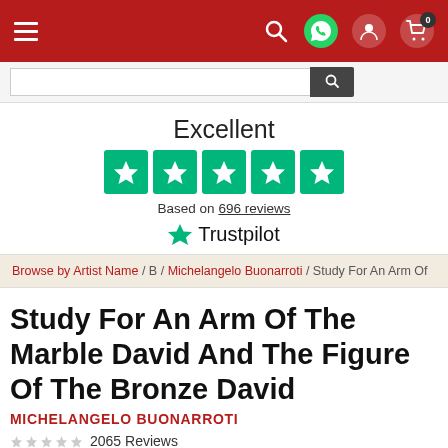Navigation bar with hamburger menu and icons
[Figure (screenshot): Trustpilot rating section showing 'Excellent' with 5 green stars and 'Based on 696 reviews' and Trustpilot logo]
Browse by Artist Name / B / Michelangelo Buonarroti / Study For An Arm Of
Study For An Arm Of The Marble David And The Figure Of The Bronze David
MICHELANGELO BUONARROTI
2065 Reviews
Get hand painted museum quality reproduction of "Study For An